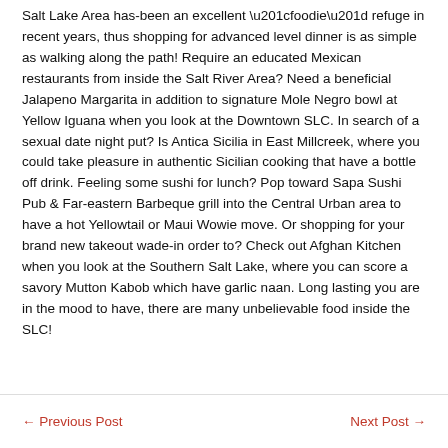Salt Lake Area has-been an excellent “foodie” refuge in recent years, thus shopping for advanced level dinner is as simple as walking along the path! Require an educated Mexican restaurants from inside the Salt River Area? Need a beneficial Jalapeno Margarita in addition to signature Mole Negro bowl at Yellow Iguana when you look at the Downtown SLC. In search of a sexual date night put? Is Antica Sicilia in East Millcreek, where you could take pleasure in authentic Sicilian cooking that have a bottle off drink. Feeling some sushi for lunch? Pop toward Sapa Sushi Pub & Far-eastern Barbeque grill into the Central Urban area to have a hot Yellowtail or Maui Wowie move. Or shopping for your brand new takeout wade-in order to? Check out Afghan Kitchen when you look at the Southern Salt Lake, where you can score a savory Mutton Kabob which have garlic naan. Long lasting you are in the mood to have, there are many unbelievable food inside the SLC!
← Previous Post    Next Post →